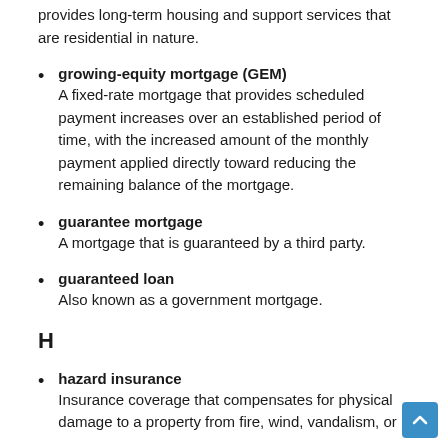provides long-term housing and support services that are residential in nature.
growing-equity mortgage (GEM)
A fixed-rate mortgage that provides scheduled payment increases over an established period of time, with the increased amount of the monthly payment applied directly toward reducing the remaining balance of the mortgage.
guarantee mortgage
A mortgage that is guaranteed by a third party.
guaranteed loan
Also known as a government mortgage.
H
hazard insurance
Insurance coverage that compensates for physical damage to a property from fire, wind, vandalism, or